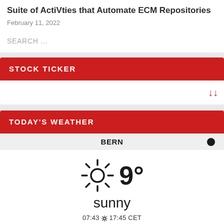Suite of ActiVties that Automate ECM Repositories
February 11, 2022
SEARCH ...
STOCK TICKER
TODAY'S WEATHER
BERN
[Figure (infographic): Weather widget showing sunny weather icon with temperature 9 degrees, description 'sunny', and times 07:43 sunrise to 17:45 CET sunset]